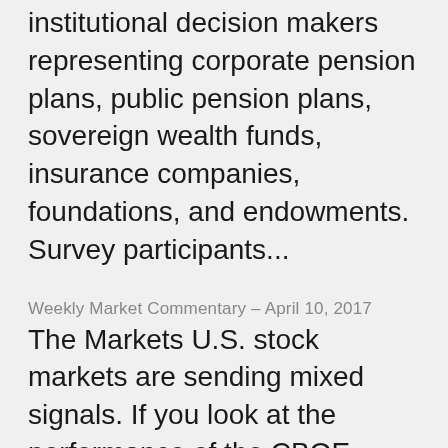institutional decision makers representing corporate pension plans, public pension plans, sovereign wealth funds, insurance companies, foundations, and endowments. Survey participants...
Weekly Market Commentary – April 10, 2017
The Markets U.S. stock markets are sending mixed signals. If you look at the performance of the CBOE Volatility Index (a.k.a. the VIX or fear gauge), which is a measure of market expectations for volatility in the near future, it appears all is well and investors...